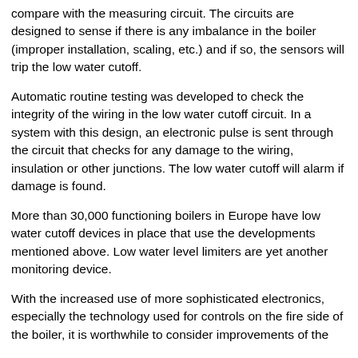compare with the measuring circuit. The circuits are designed to sense if there is any imbalance in the boiler (improper installation, scaling, etc.) and if so, the sensors will trip the low water cutoff.
Automatic routine testing was developed to check the integrity of the wiring in the low water cutoff circuit. In a system with this design, an electronic pulse is sent through the circuit that checks for any damage to the wiring, insulation or other junctions. The low water cutoff will alarm if damage is found.
More than 30,000 functioning boilers in Europe have low water cutoff devices in place that use the developments mentioned above. Low water level limiters are yet another monitoring device.
With the increased use of more sophisticated electronics, especially the technology used for controls on the fire side of the boiler, it is worthwhile to consider improvements of the